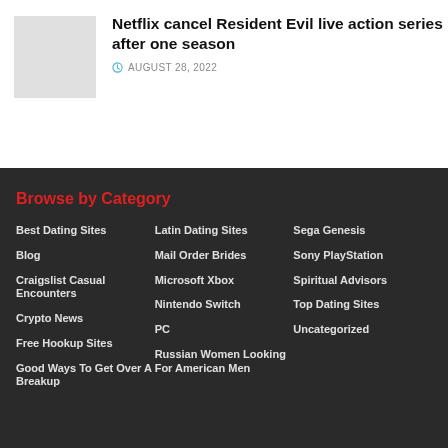[Figure (photo): Thumbnail image placeholder for article]
Netflix cancel Resident Evil live action series after one season
AUGUST 28, 2022
Browse by Category
Best Dating Sites
Blog
Craigslist Casual Encounters
Crypto News
Free Hookup Sites
Good Ways To Get Over A Breakup
Latin Dating Sites
Mail Order Brides
Microsoft Xbox
Nintendo Switch
PC
Russian Women Looking For American Men
Sega Genesis
Sony PlayStation
Spiritual Advisors
Top Dating Sites
Uncategorized